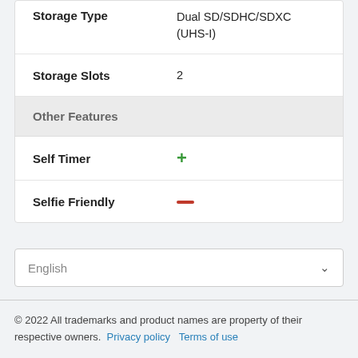| Feature | Value |
| --- | --- |
| Storage Type | Dual SD/SDHC/SDXC (UHS-I) |
| Storage Slots | 2 |
| Other Features |  |
| Self Timer | + |
| Selfie Friendly | – |
English
© 2022 All trademarks and product names are property of their respective owners. Privacy policy   Terms of use